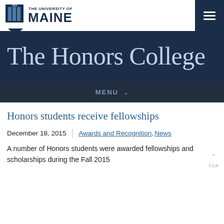[Figure (logo): University of Maine logo with text '1865 THE UNIVERSITY OF MAINE' and shield graphic]
The Honors College
MENU
Honors students receive fellowships
December 18, 2015 | Awards and Recognition, News
A number of Honors students were awarded fellowships and scholarships during the Fall 2015